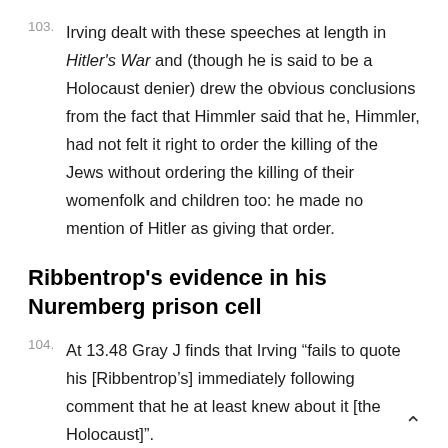103. Irving dealt with these speeches at length in Hitler's War and (though he is said to be a Holocaust denier) drew the obvious conclusions from the fact that Himmler said that he, Himmler, had not felt it right to order the killing of the Jews without ordering the killing of their womenfolk and children too: he made no mention of Hitler as giving that order.
Ribbentrop's evidence in his Nuremberg prison cell
104. At 13.48 Gray J finds that Irving "fails to quote his [Ribbentrop's] immediately following comment that he at least knew about it [the Holocaust]".